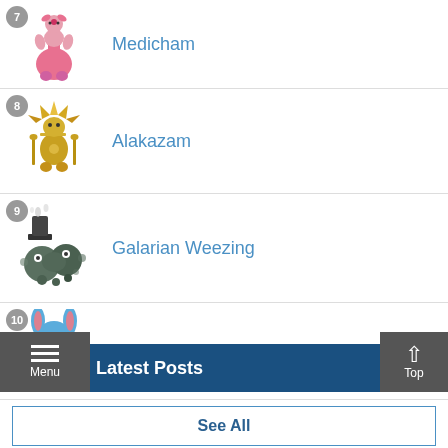7 Medicham
8 Alakazam
9 Galarian Weezing
10 Azumarill
See All
Menu   Latest Posts   Top